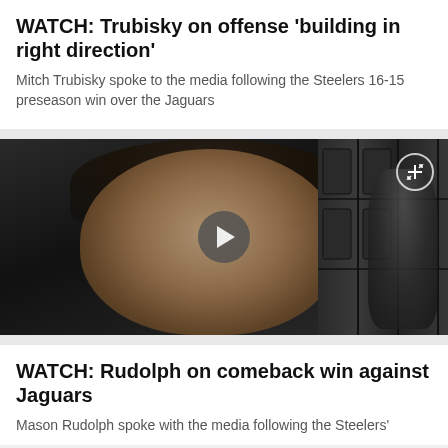WATCH: Trubisky on offense 'building in right direction'
Mitch Trubisky spoke to the media following the Steelers 16-15 preseason win over the Jaguars
[Figure (photo): Video thumbnail showing Mitch Trubisky speaking in a locker room, with a play button overlay and expand icon in the top-right corner]
WATCH: Rudolph on comeback win against Jaguars
Mason Rudolph spoke with the media following the Steelers'